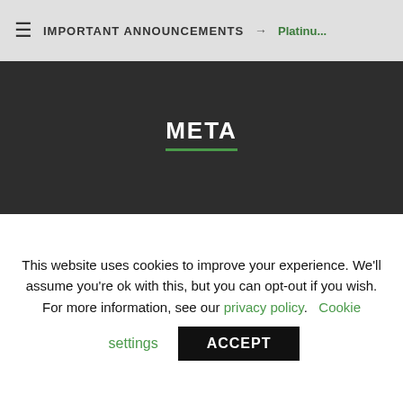≡  IMPORTANT ANNOUNCEMENTS → Platinu...
META
in
ies feed
nments feed
dPress.org
FONT SIZE
This website uses cookies to improve your experience. We'll assume you're ok with this, but you can opt-out if you wish. For more information, see our privacy policy.  Cookie settings  ACCEPT